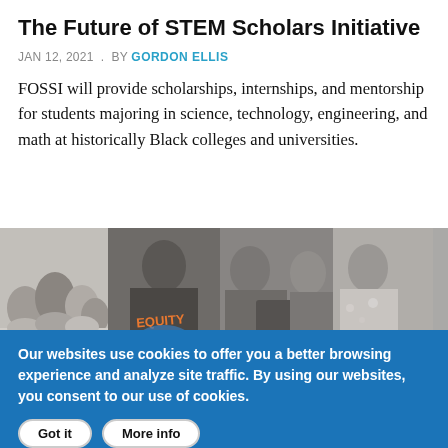The Future of STEM Scholars Initiative
JAN 12, 2021 . BY GORDON ELLIS
FOSSI will provide scholarships, internships, and mentorship for students majoring in science, technology, engineering, and math at historically Black colleges and universities.
[Figure (photo): Collage of grayscale photos showing groups of people, a person wearing an EQUITY shirt, a man receiving an award, a woman smiling, and a man in a suit]
Our websites use cookies to offer you a better browsing experience and analyze site traffic. By using our websites, you consent to our use of cookies.